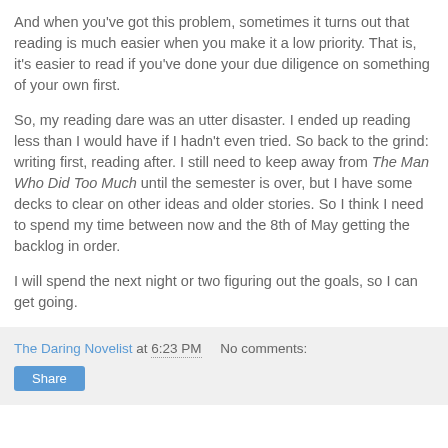And when you've got this problem, sometimes it turns out that reading is much easier when you make it a low priority. That is, it's easier to read if you've done your due diligence on something of your own first.
So, my reading dare was an utter disaster. I ended up reading less than I would have if I hadn't even tried. So back to the grind: writing first, reading after. I still need to keep away from The Man Who Did Too Much until the semester is over, but I have some decks to clear on other ideas and older stories. So I think I need to spend my time between now and the 8th of May getting the backlog in order.
I will spend the next night or two figuring out the goals, so I can get going.
The Daring Novelist at 6:23 PM   No comments:   Share